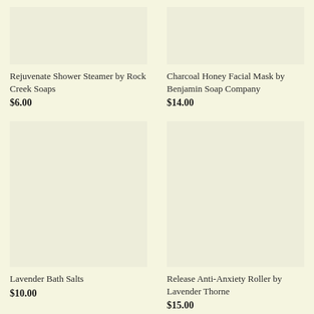[Figure (photo): Product image placeholder for Rejuvenate Shower Steamer]
Rejuvenate Shower Steamer by Rock Creek Soaps
$6.00
[Figure (photo): Product image placeholder for Charcoal Honey Facial Mask]
Charcoal Honey Facial Mask by Benjamin Soap Company
$14.00
[Figure (photo): Product image placeholder for Lavender Bath Salts]
Lavender Bath Salts
$10.00
[Figure (photo): Product image placeholder for Release Anti-Anxiety Roller]
Release Anti-Anxiety Roller by Lavender Thorne
$15.00